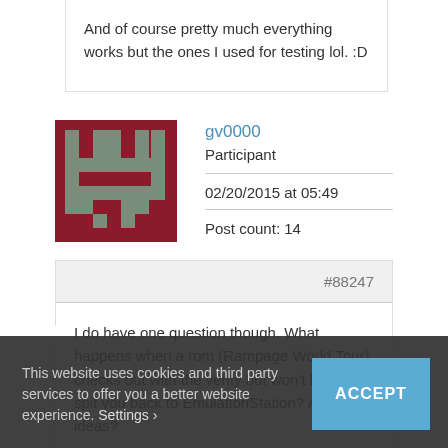And of course pretty much everything works but the ones I used for testing lol. :D
gv0000
Participant
02/20/2015 at 05:49
Post count: 14
#88247
I do have one question though. What happens when a rom (Rampage World Tour) checks out with the verify but won't load, only spit you back to EmulationStation? Any ideas?
This website uses cookies and third party services to offer you a better website experience. Settings